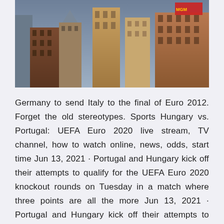[Figure (photo): City skyline photo showing brick buildings and skyscrapers against a grey-blue sky]
Germany to send Italy to the final of Euro 2012. Forget the old stereotypes. Sports Hungary vs. Portugal: UEFA Euro 2020 live stream, TV channel, how to watch online, news, odds, start time Jun 13, 2021 · Portugal and Hungary kick off their attempts to qualify for the UEFA Euro 2020 knockout rounds on Tuesday in a match where three points are all the more Jun 13, 2021 · Portugal and Hungary kick off their attempts to qualify for the UEFA Euro 2020 knockout rounds on Tuesday in a Hungary vs. Portugal: UEFA Euro 2020 live stream, TV channel, how to watch online, news, odds, start time –